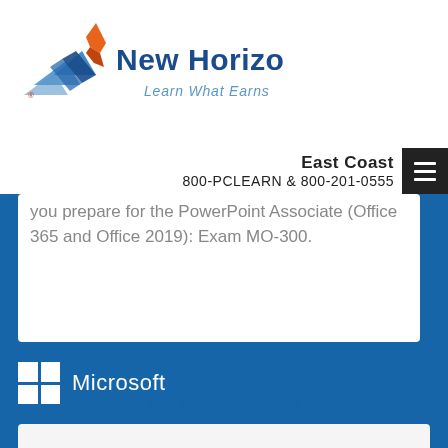[Figure (logo): New Horizons logo with bird/wing graphic and tagline 'Learn What Earns']
East Coast
800-PCLEARN & 800-201-0555
you prepare for the PowerPoint Associate (Office 365 and Office 2019): Exam MO-300.
[Figure (logo): Microsoft logo with four-pane Windows grid and 'Microsoft' wordmark in white on blue background]
Skip to Available Dates